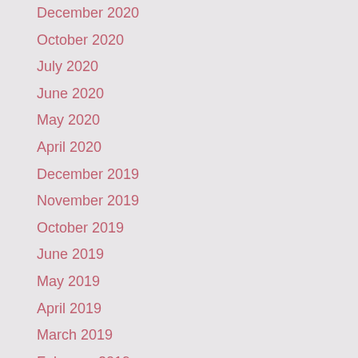December 2020
October 2020
July 2020
June 2020
May 2020
April 2020
December 2019
November 2019
October 2019
June 2019
May 2019
April 2019
March 2019
February 2019
January 2019
November 2018
October 2018
June 2018
May 2018
March 2018